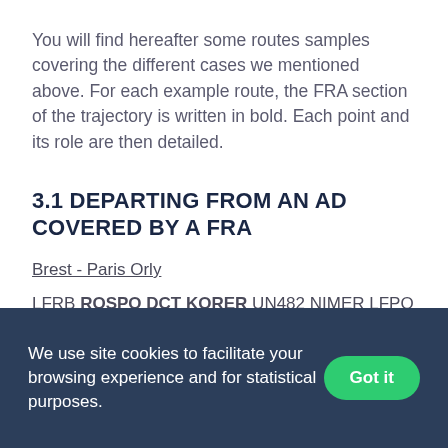You will find hereafter some routes samples covering the different cases we mentioned above. For each example route, the FRA section of the trajectory is written in bold. Each point and its role are then detailed.
3.1 DEPARTING FROM AN AD COVERED BY A FRA
Brest - Paris Orly
LFRB ROSPO DCT KORER UN482 NIMER LFPO
We use site cookies to facilitate your browsing experience and for statistical purposes.